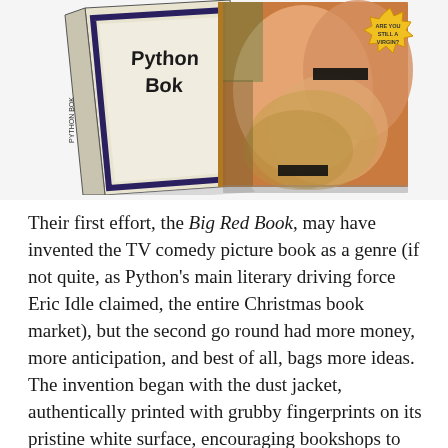[Figure (photo): Two book covers side by side: left shows 'Python Bok' with white cover and dark border, right shows an adult-themed paperback cover with figures and a starburst label.]
Their first effort, the Big Red Book, may have invented the TV comedy picture book as a genre (if not quite, as Python's main literary driving force Eric Idle claimed, the entire Christmas book market), but the second go round had more money, more anticipation, and best of all, bags more ideas. The invention began with the dust jacket, authentically printed with grubby fingerprints on its pristine white surface, encouraging bookshops to either send them back – and receive more soiled books by return of post – or attempt to display them without the jackets, thus uncovering the salacious montage above.